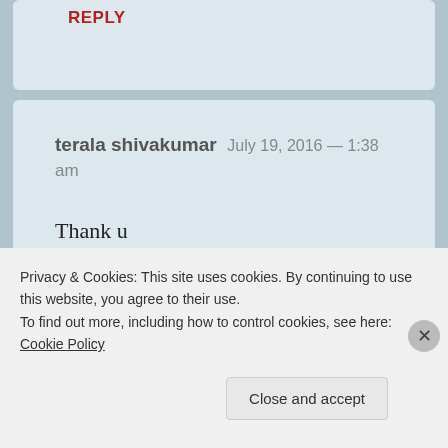REPLY
terala shivakumar   July 19, 2016 — 1:38 am
Thank u
★ Like
Privacy & Cookies: This site uses cookies. By continuing to use this website, you agree to their use.
To find out more, including how to control cookies, see here: Cookie Policy
Close and accept